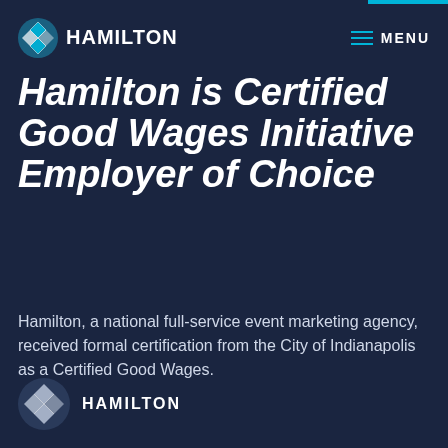HAMILTON   MENU
Hamilton is Certified Good Wages Initiative Employer of Choice
Hamilton, a national full-service event marketing agency, received formal certification from the City of Indianapolis as a Certified Good Wages.
HAMILTON